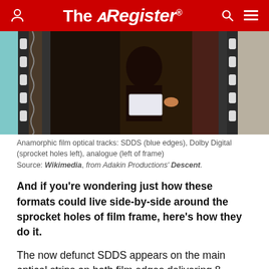The Register
[Figure (photo): Anamorphic film strip showing optical audio tracks including SDDS blue edges, Dolby Digital sprocket holes, and analogue track left of frame.]
Anamorphic film optical tracks: SDDS (blue edges), Dolby Digital (sprocket holes left), analogue (left of frame)
Source: Wikimedia, from Adakin Productions' Descent.
And if you’re wondering just how these formats could live side-by-side around the sprocket holes of film frame, here’s how they do it.
The now defunct SDDS appears on the main optical strips on both film edges delivering 8-channel sound. DTS is alongside the film frame as an optical track of